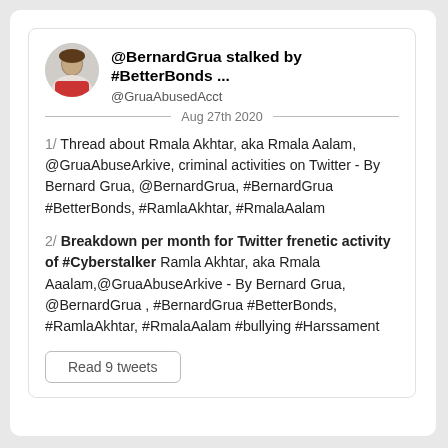@BernardGrua stalked by #BetterBonds ...
@GruaAbusedAcct
Aug 27th 2020
1/ Thread about Rmala Akhtar, aka Rmala Aalam, @GruaAbuseArkive, criminal activities on Twitter - By Bernard Grua, @BernardGrua, #BernardGrua #BetterBonds, #RamlaAkhtar, #RmalaAalam
2/ Breakdown per month for Twitter frenetic activity of #Cyberstalker Ramla Akhtar, aka Rmala Aaalam,@GruaAbuseArkive - By Bernard Grua, @BernardGrua , #BernardGrua #BetterBonds, #RamlaAkhtar, #RmalaAalam #bullying #Harssament
Read 9 tweets